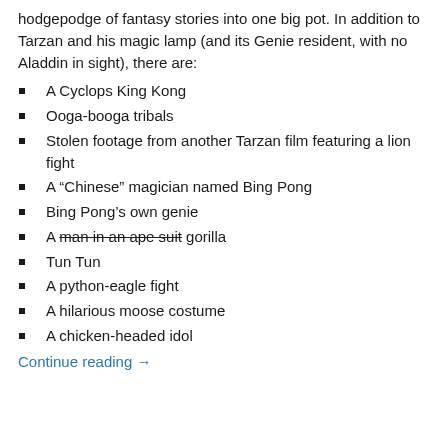hodgepodge of fantasy stories into one big pot. In addition to Tarzan and his magic lamp (and its Genie resident, with no Aladdin in sight), there are:
A Cyclops King Kong
Ooga-booga tribals
Stolen footage from another Tarzan film featuring a lion fight
A “Chinese” magician named Bing Pong
Bing Pong's own genie
A man in an ape suit gorilla
Tun Tun
A python-eagle fight
A hilarious moose costume
A chicken-headed idol
Continue reading →